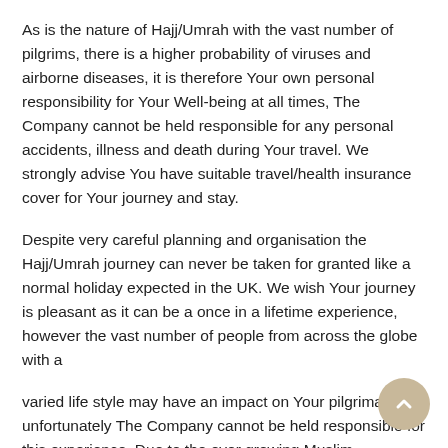As is the nature of Hajj/Umrah with the vast number of pilgrims, there is a higher probability of viruses and airborne diseases, it is therefore Your own personal responsibility for Your Well-being at all times, The Company cannot be held responsible for any personal accidents, illness and death during Your travel. We strongly advise You have suitable travel/health insurance cover for Your journey and stay.
Despite very careful planning and organisation the Hajj/Umrah journey can never be taken for granted like a normal holiday expected in the UK. We wish Your journey is pleasant as it can be a once in a lifetime experience, however the vast number of people from across the globe with a
varied life style may have an impact on Your pilgrimage, unfortunately The Company cannot be held responsible for this experience. Due to the ever growing Muslim population, the Holy Mosques and the cities around them are constantly under maintenance and construction.
We cannot be held liable for any impact this may have on Your expectations and or experience of Your Pilgrimage. The provis of the service offered by The Company is in good faith and bes endeavours to meet Your standard however, We, Our agents or